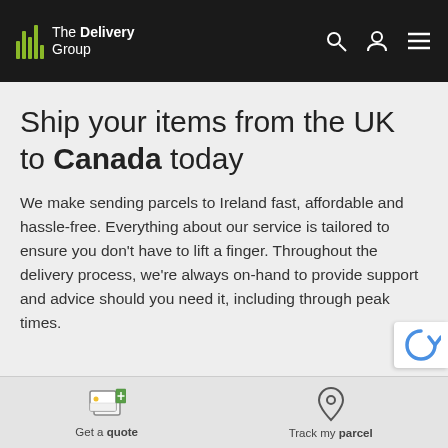[Figure (logo): The Delivery Group logo with bar-chart icon and text]
Ship your items from the UK to Canada today
We make sending parcels to Ireland fast, affordable and hassle-free. Everything about our service is tailored to ensure you don't have to lift a finger. Throughout the delivery process, we're always on-hand to provide support and advice should you need it, including through peak times.
Get a quote | Track my parcel